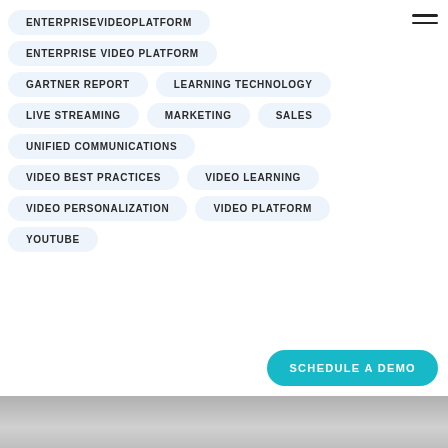ENTERPRISEVIDEOPLATFORM
ENTERPRISE VIDEO PLATFORM
GARTNER REPORT
LEARNING TECHNOLOGY
LIVE STREAMING
MARKETING
SALES
UNIFIED COMMUNICATIONS
VIDEO BEST PRACTICES
VIDEO LEARNING
VIDEO PERSONALIZATION
VIDEO PLATFORM
YOUTUBE
SCHEDULE A DEMO
[Figure (photo): Partial photo of a person visible at the bottom of the page]